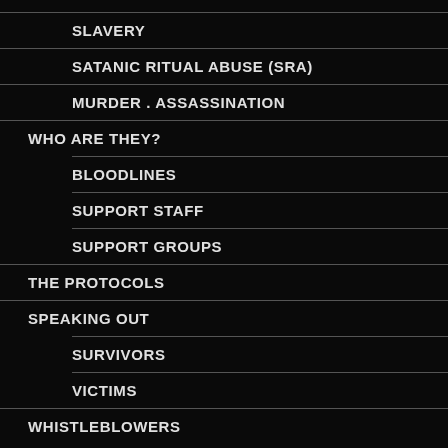SLAVERY
SATANIC RITUAL ABUSE (SRA)
MURDER . ASSASSINATION
WHO ARE THEY?
BLOODLINES
SUPPORT STAFF
SUPPORT GROUPS
THE PROTOCOLS
SPEAKING OUT
SURVIVORS
VICTIMS
WHISTLEBLOWERS